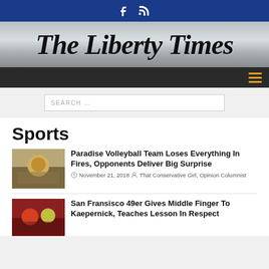The Liberty Times — social icons bar
The Liberty Times
SEARCH …
Sports
Paradise Volleyball Team Loses Everything In Fires, Opponents Deliver Big Surprise — November 21, 2018 — That Conservative Girl, Opinion Columnist
San Fransisco 49er Gives Middle Finger To Kaepernick, Teaches Lesson In Respect — November 13, 2018